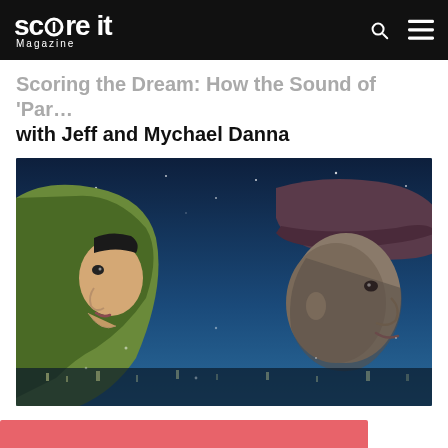Score It Magazine
Scoring the Dream: How the Sound of 'Parvana' with Jeff and Mychael Danna
[Figure (photo): Animated illustration of two characters facing each other at night — one wearing a green hood, one wearing a dark maroon hat — against a blue starry background]
[Figure (other): Partial red/salmon colored bar or banner element at the bottom of the page]